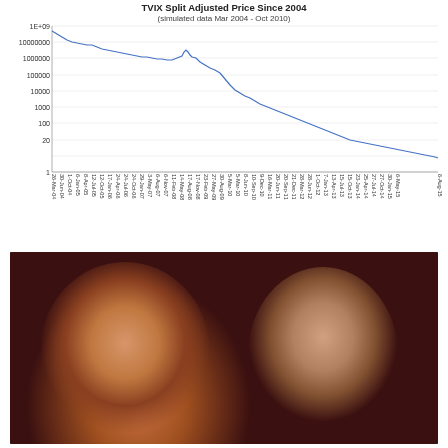[Figure (continuous-plot): Log-scale line chart showing TVIX split-adjusted price declining from ~1E+09 in Mar 2004 to ~5 in Aug 2015, with a notable spike around Aug 2008. Y-axis is logarithmic from 1 to 1E+09. X-axis shows dates from 26-Mar-04 to 6-Aug-15.]
[Figure (photo): Photo of two older men (political figures) against a dark red background, shown from shoulders up.]